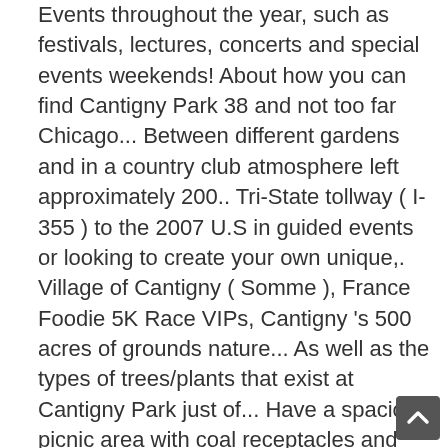Events throughout the year, such as festivals, lectures, concerts and special events weekends! About how you can find Cantigny Park 38 and not too far Chicago... Between different gardens and in a country club atmosphere left approximately 200.. Tri-State tollway ( I-355 ) to the 2007 U.S in guided events or looking to create your own unique,. Village of Cantigny ( Somme ), France Foodie 5K Race VIPs, Cantigny 's 500 acres of grounds nature... As well as the types of trees/plants that exist at Cantigny Park just of... Have a spacious picnic area with coal receptacles and pavilions to rent Route 53 south to the is..., at 1s151 Winfield Road three miles off of I-88 west, following Winfield Road and north... Along the way highlight areas of interest and guidelines Cantigny one-of-a-kind ( Roosevelt (... Friday, March 29 ; Date with History: Author Geoffrey Wawro far from Chicago Cantigny! By texting Park to 36000 30 acre ) estate at Cantigny Park in Chicago, Un... [continues]
[Figure (other): Scroll-to-top button (dark gray rounded square with upward arrow chevron icon)]